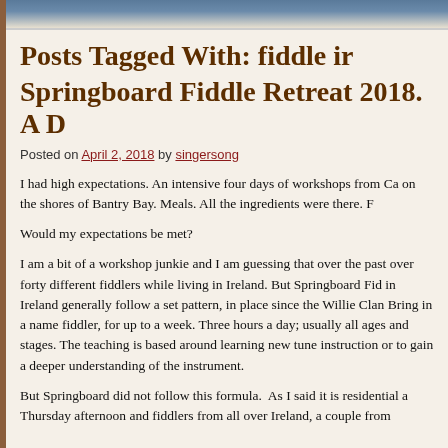[Figure (photo): Top banner image strip showing a decorative header image, partially visible]
Posts Tagged With: fiddle in Ireland
Springboard Fiddle Retreat 2018. A D...
Posted on April 2, 2018 by singersong
I had high expectations. An intensive four days of workshops from Ca... on the shores of Bantry Bay. Meals. All the ingredients were there. F...
Would my expectations be met?
I am a bit of a workshop junkie and I am guessing that over the past... over forty different fiddlers while living in Ireland. But Springboard Fid... in Ireland generally follow a set pattern, in place since the Willie Clann... Bring in a name fiddler, for up to a week. Three hours a day; usually... all ages and stages. The teaching is based around learning new tune... instruction or to gain a deeper understanding of the instrument.
But Springboard did not follow this formula.  As I said it is residential... a Thursday afternoon and fiddlers from all over Ireland, a couple from...